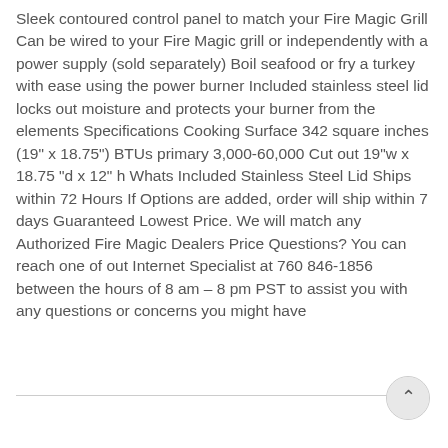Sleek contoured control panel to match your Fire Magic Grill Can be wired to your Fire Magic grill or independently with a power supply (sold separately) Boil seafood or fry a turkey with ease using the power burner Included stainless steel lid locks out moisture and protects your burner from the elements Specifications Cooking Surface 342 square inches (19" x 18.75") BTUs primary 3,000-60,000 Cut out 19"w x 18.75 "d x 12" h Whats Included Stainless Steel Lid Ships within 72 Hours If Options are added, order will ship within 7 days Guaranteed Lowest Price. We will match any Authorized Fire Magic Dealers Price Questions? You can reach one of out Internet Specialist at 760 846-1856 between the hours of 8 am – 8 pm PST to assist you with any questions or concerns you might have